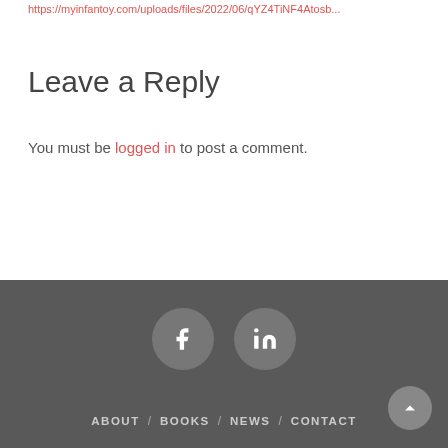https://myinfantoy.com/uploads/files/2022/06/qYZ4TiNF4Atosb...
Leave a Reply
You must be logged in to post a comment.
ABOUT / BOOKS / NEWS / CONTACT